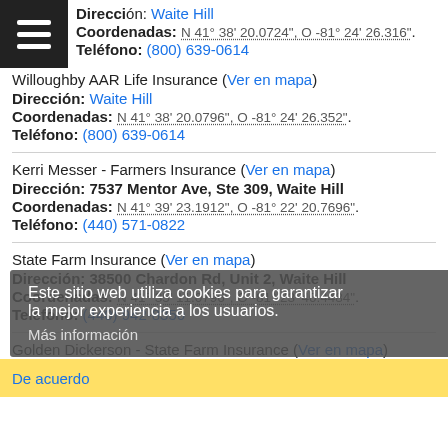ción: Waite Hill
Coordenadas: N 41° 38' 20.0724", O -81° 24' 26.316".
Teléfono: (800) 639-0614
Willoughby AAR Life Insurance (Ver en mapa)
Dirección: Waite Hill
Coordenadas: N 41° 38' 20.0796", O -81° 24' 26.352".
Teléfono: (800) 639-0614
Kerri Messer - Farmers Insurance (Ver en mapa)
Dirección: 7537 Mentor Ave, Ste 309, Waite Hill
Coordenadas: N 41° 39' 23.1912", O -81° 22' 20.7696".
Teléfono: (440) 571-0822
State Farm Insurance (Ver en mapa)
Dirección: 38500 Chardon Rd, Unit 2, Waite Hill
Coordenadas: N 41° 35' 11.0796", O -81° 23' 40.4484".
Teléfono: (440) 942-8350
Golden Dickerson - State Farm Insurance (Ver en mapa)
Dirección: 38669 Mentor Ave, Unit A, Waite Hill
Este sitio web utiliza cookies para garantizar la mejor experiencia a los usuarios.
Más información
De acuerdo